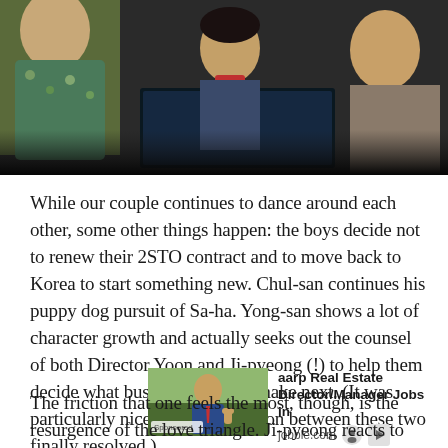[Figure (photo): Scene from a Korean drama showing a young man in a red lanyard at a computer screen, with other people around him in an office/tech setting. Dark cinematic lighting.]
While our couple continues to dance around each other, some other things happen: the boys decide not to renew their 2STO contract and to move back to Korea to start something new. Chul-san continues his puppy dog pursuit of Sa-ha. Yong-san shows a lot of character growth and actually seeks out the counsel of both Director Yoon and Ji-pyeong (!) to help them decide what business move to make next. (It was particularly nice to see the friction between these two finally resolved.)
[Figure (photo): Advertisement image showing a man in a suit with thumbs up, labeled Sponsored]
aarp Real Estate Director/Manager Jobs in jobble.com
The friction that one feels the most, though, is the resurgence of the love triangle. Ji-pyeong reacts to